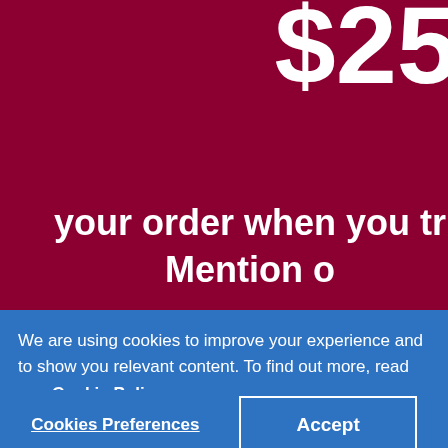$25
your order when you tr Mention o
*Valid on any purchase of $100 or more on a ne product or service. Qualifying total does not include ta
We are using cookies to improve your experience and to show you relevant content. To find out more, read our Cookie Policy.
Cookies Preferences
Accept